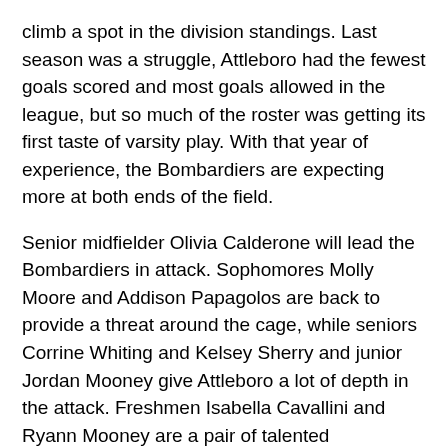climb a spot in the division standings. Last season was a struggle, Attleboro had the fewest goals scored and most goals allowed in the league, but so much of the roster was getting its first taste of varsity play. With that year of experience, the Bombardiers are expecting more at both ends of the field.
Senior midfielder Olivia Calderone will lead the Bombardiers in attack. Sophomores Molly Moore and Addison Papagolos are back to provide a threat around the cage, while seniors Corrine Whiting and Kelsey Sherry and junior Jordan Mooney give Attleboro a lot of depth in the attack. Freshmen Isabella Cavallini and Ryann Mooney are a pair of talented newcomers who are going to get the chance to boost Attleboro's scoring punch.
In defense, senior Avery Vieira and junior Ally Haigh are back to protect the goal. Both are strong presences in the defensive area with their athleticism and reading of the game.